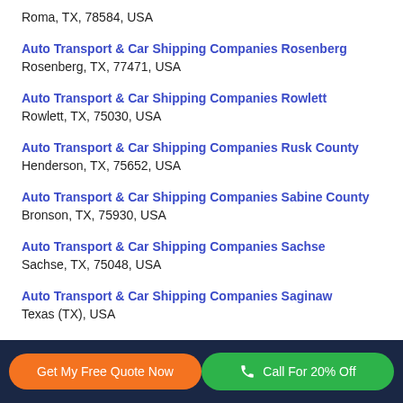Roma, TX, 78584, USA
Auto Transport & Car Shipping Companies Rosenberg
Rosenberg, TX, 77471, USA
Auto Transport & Car Shipping Companies Rowlett
Rowlett, TX, 75030, USA
Auto Transport & Car Shipping Companies Rusk County
Henderson, TX, 75652, USA
Auto Transport & Car Shipping Companies Sabine County
Bronson, TX, 75930, USA
Auto Transport & Car Shipping Companies Sachse
Sachse, TX, 75048, USA
Auto Transport & Car Shipping Companies Saginaw
Texas (TX), USA
Get My Free Quote Now | Call For 20% Off